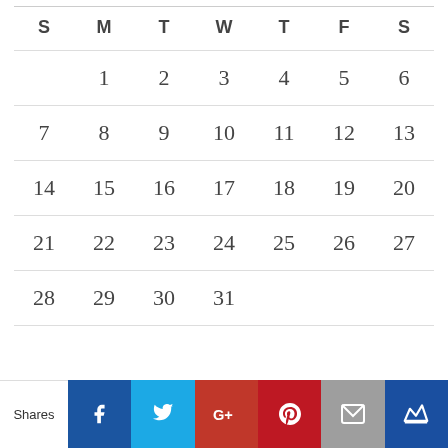| S | M | T | W | T | F | S |
| --- | --- | --- | --- | --- | --- | --- |
|  | 1 | 2 | 3 | 4 | 5 | 6 |
| 7 | 8 | 9 | 10 | 11 | 12 | 13 |
| 14 | 15 | 16 | 17 | 18 | 19 | 20 |
| 21 | 22 | 23 | 24 | 25 | 26 | 27 |
| 28 | 29 | 30 | 31 |  |  |  |
« Apr